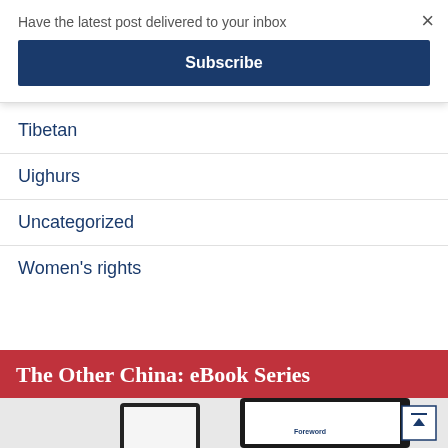Have the latest post delivered to your inbox
× (close button)
Subscribe
Tibetan
Uighurs
Uncategorized
Women's rights
The Other China: eBook Series
[Figure (photo): Tablet/e-reader device showing an eBook with 'Foreword' text visible]